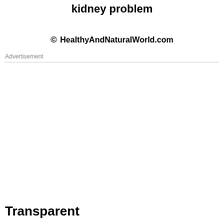kidney problem
© HealthyAndNaturalWorld.com
Advertisement
Transparent